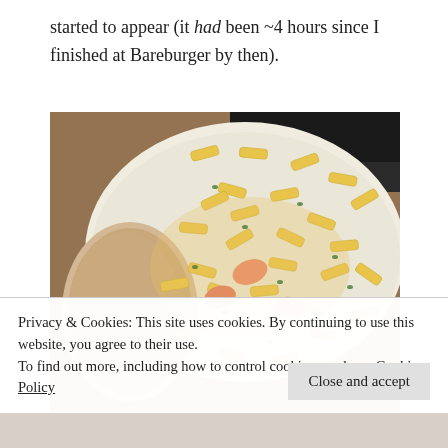started to appear (it had been ~4 hours since I finished at Bareburger by then).
[Figure (photo): A plate of penne pasta with shrimp in a creamy sauce, served with a piece of bread, photographed on a woven placemat with outdoor furniture visible in the background.]
Privacy & Cookies: This site uses cookies. By continuing to use this website, you agree to their use.
To find out more, including how to control cookies, see here: Cookie Policy
Close and accept